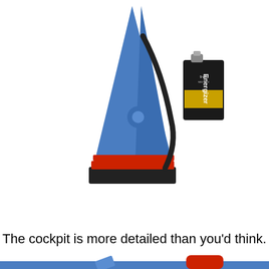[Figure (photo): A blue toy figure base with black cables and red accents, shown next to an Energizer 9V battery for scale, on a white background.]
The cockpit is more detailed than you'd think.
[Figure (photo): Close-up of a blue toy figure cockpit area showing a red coiled spring/grip, yellow element, gray barrel-like parts, and detailed blue plastic mechanical components.]